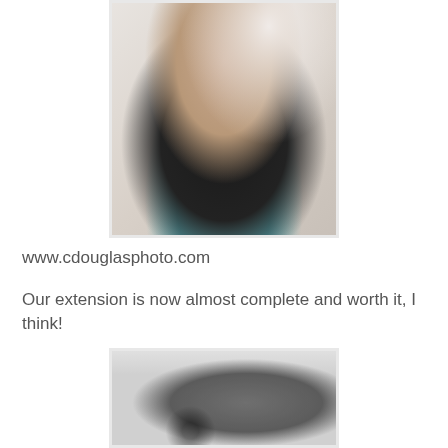[Figure (photo): A smiling woman with dark hair wearing a black strapless top and teal patterned shorts/skirt, seated near a window with bright background]
www.cdouglasphoto.com
Our extension is now almost complete and worth it, I think!
[Figure (photo): Interior room photo showing a large framed mirror on a wall with a clothes hanger visible, in a grey-toned room extension]